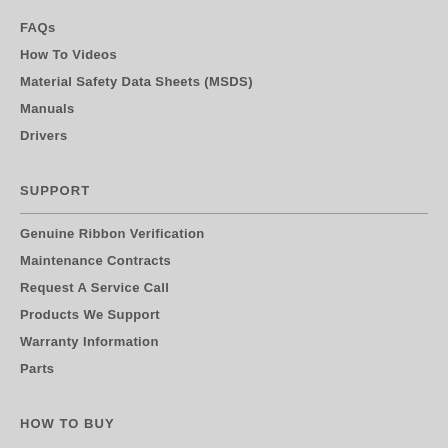FAQs
How To Videos
Material Safety Data Sheets (MSDS)
Manuals
Drivers
SUPPORT
Genuine Ribbon Verification
Maintenance Contracts
Request A Service Call
Products We Support
Warranty Information
Parts
HOW TO BUY